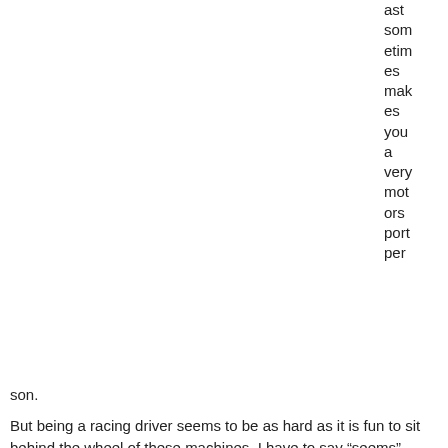ast sometimes makes you a very motorsport person.
But being a racing driver seems to be as hard as it is fun to sit behind the wheel of these machines. I have to say “seems” because I think that after watching the video below you’ll know that I’m right. Seems like the driver is no using 100% of this 911 GT3 R’s power but it’s still crazy to see how thes guys play video games in real life.
[Figure (screenshot): Video thumbnail showing '24h-Race 2015 Onboard Porsche 91...' with a circular logo featuring a stylized F on dark purple background, on a black bar with a three-dot menu icon.]